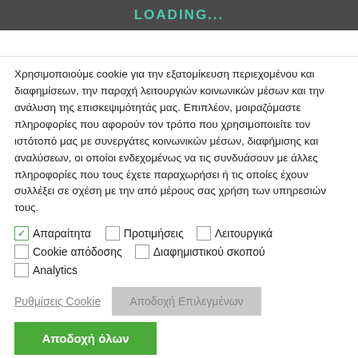LOADING...
Χρησιμοποιούμε cookie για την εξατομίκευση περιεχομένου και διαφημίσεων, την παροχή λειτουργιών κοινωνικών μέσων και την ανάλυση της επισκεψιμότητάς μας. Επιπλέον, μοιραζόμαστε πληροφορίες που αφορούν τον τρόπο που χρησιμοποιείτε τον ιστότοπό μας με συνεργάτες κοινωνικών μέσων, διαφήμισης και αναλύσεων, οι οποίοι ενδεχομένως να τις συνδυάσουν με άλλες πληροφορίες που τους έχετε παραχωρήσει ή τις οποίες έχουν συλλέξει σε σχέση με την από μέρους σας χρήση των υπηρεσιών τους.
✓ Απαραίτητα   □ Προτιμήσεις   □ Λειτουργικά
□ Cookie απόδοσης   □ Διαφημιστικού σκοπού
□ Analytics
Ρυθμίσεις Cookie   Αποδοχή Επιλεγμένων
Αποδοχή όλων